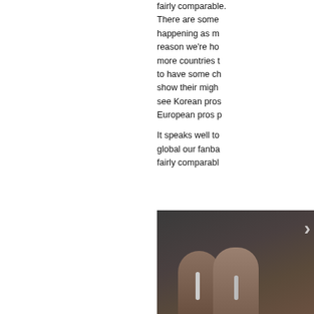fairly comparable. There are some happening as m reason we're ho more countries t to have some ch show their migh see Korean pros European pros p It speaks well to global our fanba fairly comparabl
[Figure (photo): Two people singing into microphones on a dimly lit stage, photographed from below. A white arrow or chevron is visible in the upper right corner.]